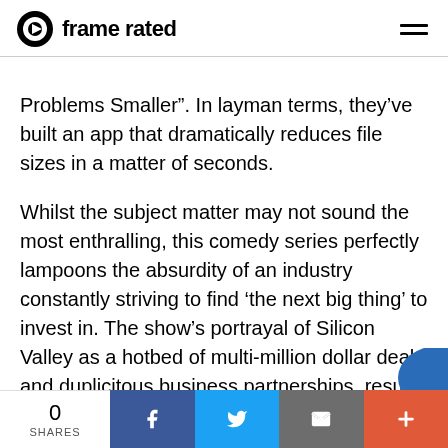frame rated
Problems Smaller". In layman terms, they've built an app that dramatically reduces file sizes in a matter of seconds.
Whilst the subject matter may not sound the most enthralling, this comedy series perfectly lampoons the absurdity of an industry constantly striving to find ‘the next big thing’ to invest in. The show’s portrayal of Silicon Valley as a hotbed of multi-million dollar deals and duplicitous business partnerships, results in plots of betrayal and double-crossing that would make George R.R Martin blush. However, rather tha…
0 SHARES | Facebook | Twitter | Email | +